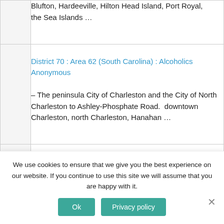|  | Blufton, Hardeeville, Hilton Head Island, Port Royal,
the Sea Islands … |
|  | District 70 : Area 62 (South Carolina) : Alcoholics Anonymous
– The peninsula City of Charleston and the City of North
Charleston to Ashley-Phosphate Road.  downtown Charleston, north Charleston, Hanahan … |
|  | District 71 : Area 62 (South Carolina) : Alcoholics |
We use cookies to ensure that we give you the best experience on our website. If you continue to use this site we will assume that you are happy with it.